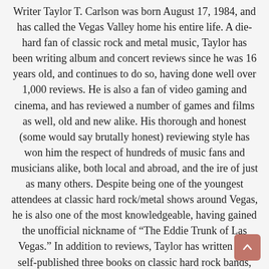Writer Taylor T. Carlson was born August 17, 1984, and has called the Vegas Valley home his entire life. A die-hard fan of classic rock and metal music, Taylor has been writing album and concert reviews since he was 16 years old, and continues to do so, having done well over 1,000 reviews. He is also a fan of video gaming and cinema, and has reviewed a number of games and films as well, old and new alike. His thorough and honest (some would say brutally honest) reviewing style has won him the respect of hundreds of music fans and musicians alike, both local and abroad, and the ire of just as many others. Despite being one of the youngest attendees at classic hard rock/metal shows around Vegas, he is also one of the most knowledgeable, having gained the unofficial nickname of “The Eddie Trunk of Las Vegas.” In addition to reviews, Taylor has written and self-published three books on classic hard rock bands, and is a regular participant